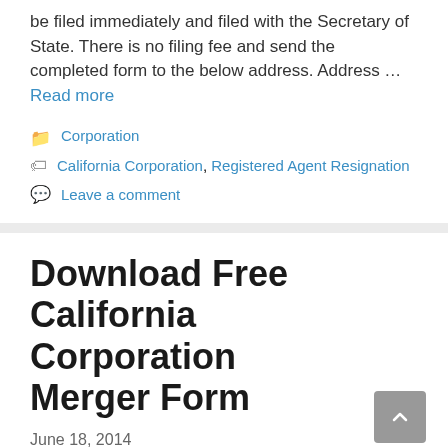be filed immediately and filed with the Secretary of State. There is no filing fee and send the completed form to the below address. Address … Read more
Corporation
California Corporation, Registered Agent Resignation
Leave a comment
Download Free California Corporation Merger Form
June 18, 2014